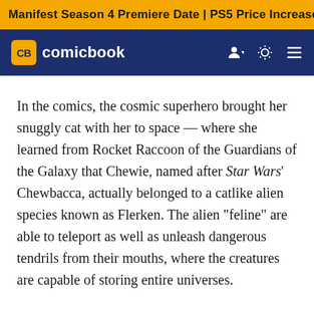Manifest Season 4 Premiere Date | PS5 Price Increase | Jon M
CB comicbook
In the comics, the cosmic superhero brought her snuggly cat with her to space — where she learned from Rocket Raccoon of the Guardians of the Galaxy that Chewie, named after Star Wars' Chewbacca, actually belonged to a catlike alien species known as Flerken. The alien "feline" are able to teleport as well as unleash dangerous tendrils from their mouths, where the creatures are capable of storing entire universes.